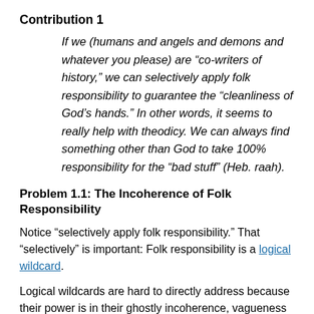Contribution 1
If we (humans and angels and demons and whatever you please) are “co-writers of history,” we can selectively apply folk responsibility to guarantee the “cleanliness of God’s hands.” In other words, it seems to really help with theodicy. We can always find something other than God to take 100% responsibility for the “bad stuff” (Heb. raah).
Problem 1.1: The Incoherence of Folk Responsibility
Notice “selectively apply folk responsibility.” That “selectively” is important: Folk responsibility is a logical wildcard.
Logical wildcards are hard to directly address because their power is in their ghostly incoherence, vagueness